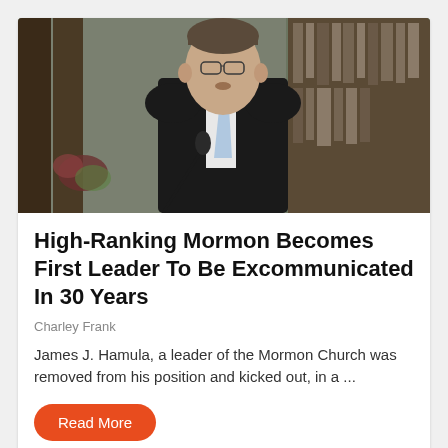[Figure (photo): A man in a dark suit and light blue tie speaking at a podium with a microphone, in front of bookshelves]
High-Ranking Mormon Becomes First Leader To Be Excommunicated In 30 Years
Charley Frank
James J. Hamula, a leader of the Mormon Church was removed from his position and kicked out, in a ...
Read More
[Figure (photo): Partial image of a crowd of people, partially visible at bottom of page]